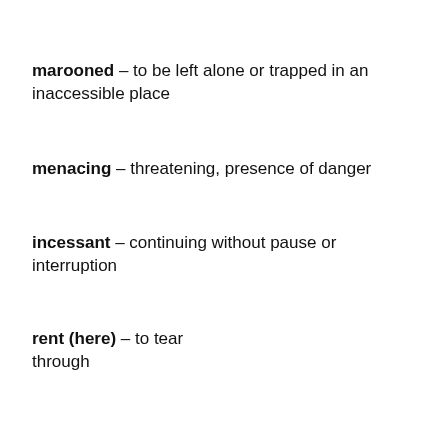marooned – to be left alone or trapped in an inaccessible place
menacing – threatening, presence of danger
incessant – continuing without pause or interruption
rent (here) – to tear through
[Figure (screenshot): A media player overlay showing 'English Conversation About Weather' with an error message 'No compatible source was found for this media.' and a broken media icon (X).]